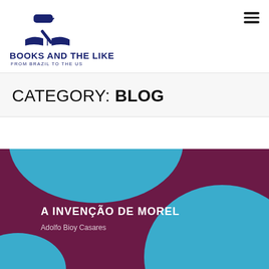[Figure (logo): Books and the Like logo with gavel over open book, dark navy blue]
BOOKS AND THE LIKE — FROM BRAZIL TO THE US
CATEGORY: BLOG
[Figure (illustration): Book cover for A Invenção de Morel by Adolfo Bioy Casares — dark maroon/purple background with large teal/blue organic blob shapes, white bold title text and author name]